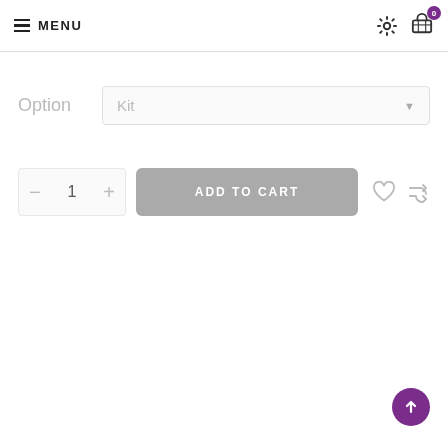MENU
Option   Kit
1   ADD TO CART